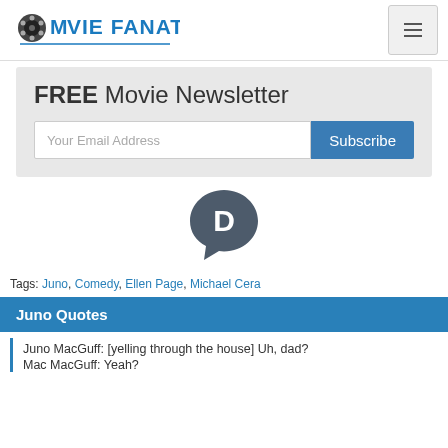MOVIE FANATIC
FREE Movie Newsletter
Your Email Address  Subscribe
[Figure (logo): Disqus 'D' logo mark in dark gray, speech bubble style]
Tags: Juno, Comedy, Ellen Page, Michael Cera
Juno Quotes
Juno MacGuff: [yelling through the house] Uh, dad?
Mac MacGuff: Yeah?